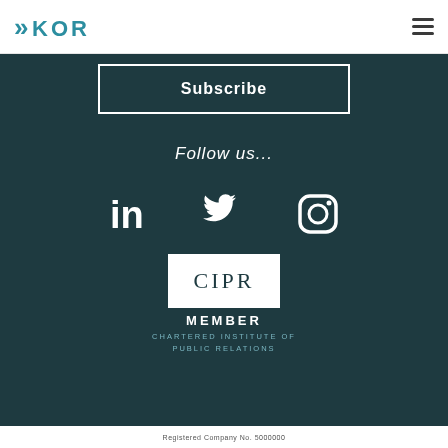KOR logo and navigation menu
Subscribe
Follow us...
[Figure (logo): LinkedIn, Twitter, and Instagram social media icons in white on dark teal background]
[Figure (logo): CIPR Member badge - Chartered Institute of Public Relations]
Registered Company No. 5000000